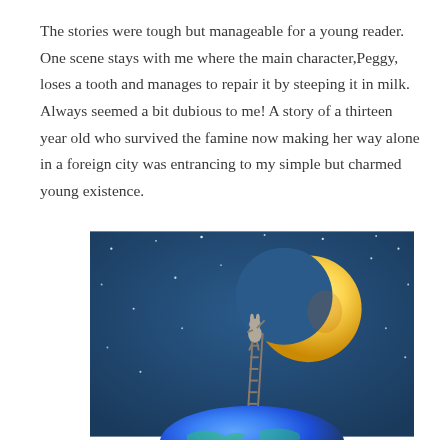The stories were tough but manageable for a young reader. One scene stays with me where the main character,Peggy, loses a tooth and manages to repair it by steeping it in milk. Always seemed a bit dubious to me! A story of a thirteen year old who survived the famine now making her way alone in a foreign city was entrancing to my simple but charmed young existence.
[Figure (illustration): Illustration of a rabbit-like figure climbing a ladder propped against a globe (Earth), reaching up toward a large crescent moon against a dark blue starry sky background.]